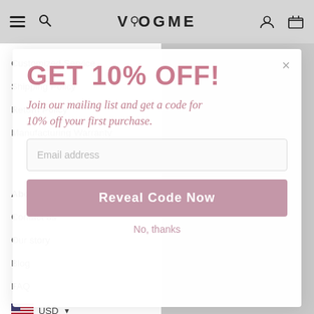VOOGME
Customized Service
Shipping Policy
Return Policy
Manufacturing Warranty
About us
Contact us
Our story
Blog
FAQ
GET 10% OFF!
Join our mailing list and get a code for 10% off your first purchase.
Email address
Reveal Code Now
No, thanks
USD